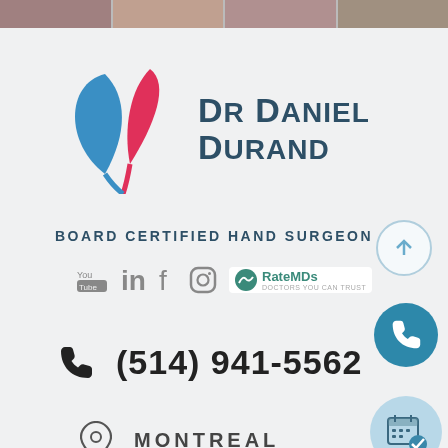[Figure (logo): Dr Daniel Durand logo with two leaf shapes in blue and pink, beside the doctor name text]
BOARD CERTIFIED HAND SURGEON
[Figure (infographic): Social media icons row: YouTube, LinkedIn, Facebook, Instagram, and RateMDs badge]
(514) 941-5562
MONTREAL